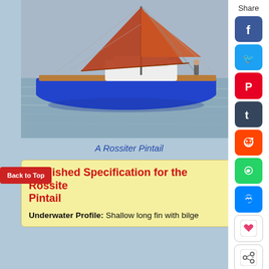[Figure (photo): A blue-hulled sailing yacht (Rossiter Pintail) on calm water with red/rust sails, wooden deck details, and a person standing at the stern.]
A Rossiter Pintail
Published Specification for the Rossiter Pintail
Underwater Profile: Shallow long fin with bilge
Back to Top